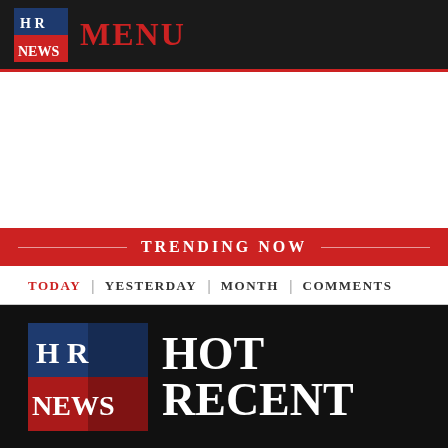HR NEWS | MENU
TRENDING NOW
TODAY | YESTERDAY | MONTH | COMMENTS
[Figure (logo): HR NEWS logo with blue and red sections, white bold serif text]
HOT RECENT
The HOTRECENTNEWS.com is not responsible for the content of external sites.